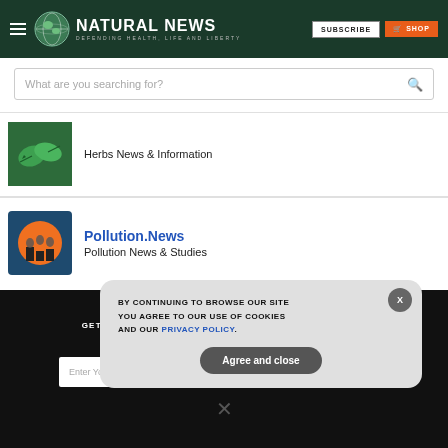Natural News — DEFENDING HEALTH, LIFE AND LIBERTY
What are you searching for?
Herbs News & Information
Pollution.News
Pollution News & Studies
GET THE WORLD'S BEST NATURAL HEALTH NEWSLETTER DELIVERED STRAIGHT TO YOUR INBOX
BY CONTINUING TO BROWSE OUR SITE YOU AGREE TO OUR USE OF COOKIES AND OUR PRIVACY POLICY.
Agree and close